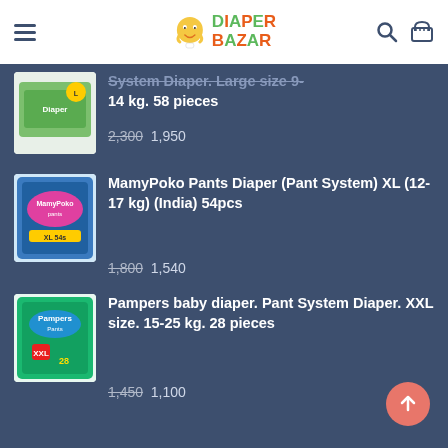Diaper Bazar
[Figure (screenshot): Partially visible product: System Diaper. Large size 9-14 kg. 58 pieces. Old price 2,300, new price 1,950]
System Diaper. Large size 9-14 kg. 58 pieces
2,300  1,950
[Figure (photo): MamyPoko Pants Diaper product packaging image]
MamyPoko Pants Diaper (Pant System) XL (12-17 kg) (India) 54pcs
1,800  1,540
[Figure (photo): Pampers baby diaper product packaging image - XXL size green box]
Pampers baby diaper. Pant System Diaper. XXL size. 15-25 kg. 28 pieces
1,450  1,100